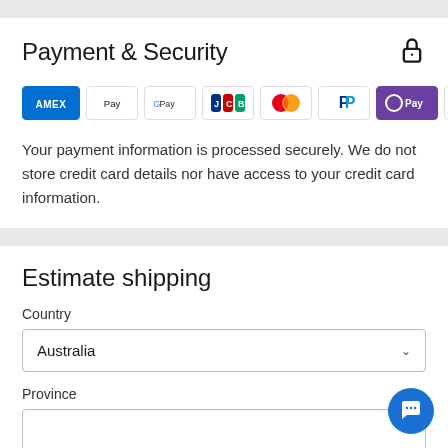Payment & Security
[Figure (logo): Payment method logos: Amex, Apple Pay, Google Pay, JCB, Mastercard, PayPal, OPay, Visa]
Your payment information is processed securely. We do not store credit card details nor have access to your credit card information.
Estimate shipping
Country
Australia
Province